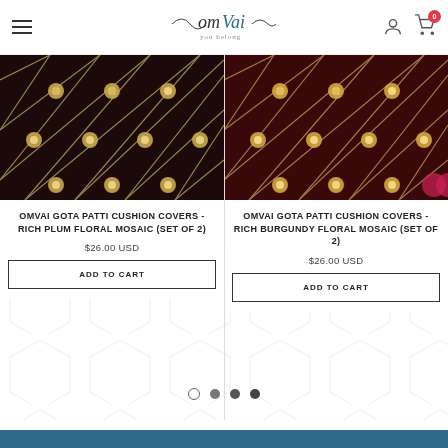OmVai - You Belong
[Figure (photo): OMVAI Gota Patti Cushion Covers in Rich Plum with floral mosaic embroidery pattern, set of 2, dark plum fabric with gold embellishments]
OMVAI GOTA PATTI CUSHION COVERS - RICH PLUM FLORAL MOSAIC (SET OF 2)
$26.00 USD
ADD TO CART
[Figure (photo): OMVAI Gota Patti Cushion Covers in Rich Burgundy with floral mosaic embroidery pattern, set of 2, dark burgundy/maroon fabric with gold embellishments]
OMVAI GOTA PATTI CUSHION COVERS - RICH BURGUNDY FLORAL MOSAIC (SET OF 2)
$26.00 USD
ADD TO CART